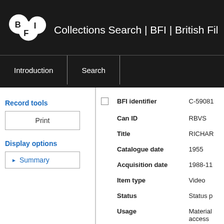Collections Search | BFI | British Fil
Record tools
Print
Display options
Summary
|  | Field | Value |
| --- | --- | --- |
|  | BFI identifier | C-59081 |
|  | Can ID | RBVS |
|  | Title | RICHAR |
|  | Catalogue date | 1955 |
|  | Acquisition date | 1988-11 |
|  | Item type | Video |
|  | Status | Status p |
|  | Usage | Material access |